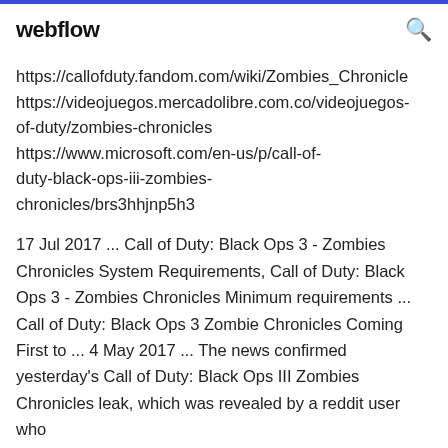webflow
https://callofduty.fandom.com/wiki/Zombies_Chronicles
https://videojuegos.mercadolibre.com.co/videojuegos-of-duty/zombies-chronicles
https://www.microsoft.com/en-us/p/call-of-duty-black-ops-iii-zombies-chronicles/brs3hhjnp5h3
17 Jul 2017 ... Call of Duty: Black Ops 3 - Zombies Chronicles System Requirements, Call of Duty: Black Ops 3 - Zombies Chronicles Minimum requirements ... Call of Duty: Black Ops 3 Zombie Chronicles Coming First to ... 4 May 2017 ... The news confirmed yesterday's Call of Duty: Black Ops III Zombies Chronicles leak, which was revealed by a reddit user who